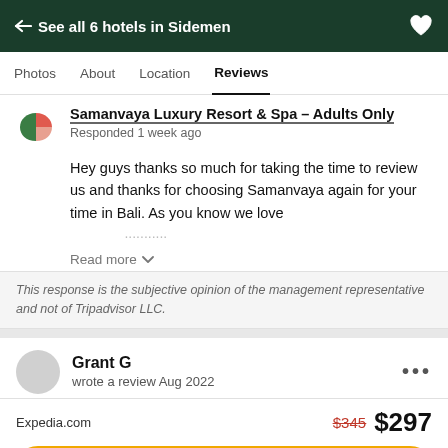← See all 6 hotels in Sidemen
Photos  About  Location  Reviews
Samanvaya Luxury Resort & Spa - Adults Only
Responded 1 week ago
Hey guys thanks so much for taking the time to review us and thanks for choosing Samanvaya again for your time in Bali. As you know we love
Read more
This response is the subjective opinion of the management representative and not of Tripadvisor LLC.
Grant G
wrote a review Aug 2022
Expedia.com  $345  $297
View deal
Visit hotel website ↗